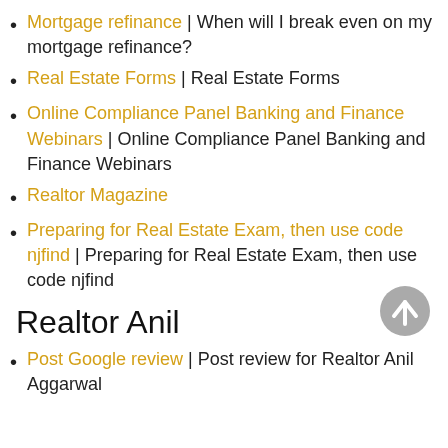Mortgage refinance | When will I break even on my mortgage refinance?
Real Estate Forms | Real Estate Forms
Online Compliance Panel Banking and Finance Webinars | Online Compliance Panel Banking and Finance Webinars
Realtor Magazine
Preparing for Real Estate Exam, then use code njfind | Preparing for Real Estate Exam, then use code njfind
Realtor Anil
Post Google review | Post review for Realtor Anil Aggarwal